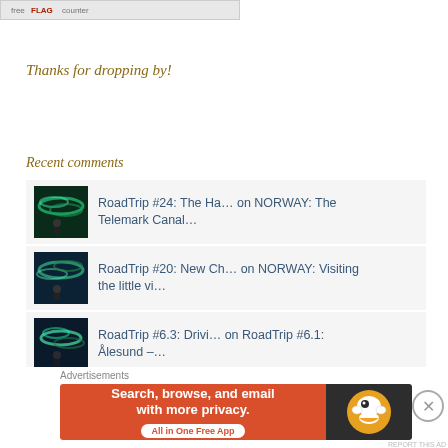[Figure (logo): Flag counter banner widget with text and colored flag icon]
Thanks for dropping by!
Recent comments
RoadTrip #24: The Ha… on NORWAY: The Telemark Canal…
RoadTrip #20: New Ch… on NORWAY: Visiting the little vi…
RoadTrip #6.3: Drivi… on RoadTrip #6.1: Ålesund –…
Advertisements
[Figure (infographic): DuckDuckGo advertisement banner: Search, browse, and email with more privacy. All in One Free App. Orange left panel with white text and rounded button, dark right panel with DuckDuckGo duck logo.]